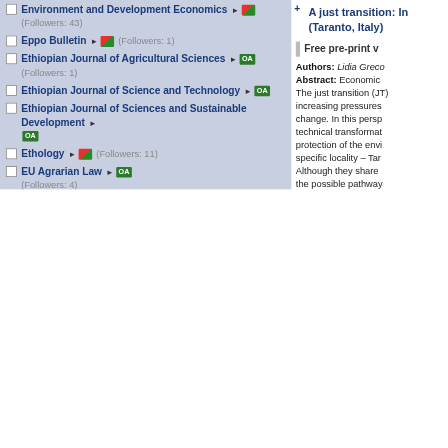Environment and Development Economics ► [RD] (Followers: 43)
Eppo Bulletin ► [RD] (Followers: 1)
Ethiopian Journal of Agricultural Sciences ► [OA] (Followers: 1)
Ethiopian Journal of Science and Technology ► [OA]
Ethiopian Journal of Sciences and Sustainable Development ► [OA]
Ethology ► [RD] (Followers: 11)
EU Agrarian Law ► [OA] (Followers: 4)
Euphytica ► [RD] (Followers: 8)
Eurochoices ► [RD] (Followers: 1)
European Journal of Agronomy ► [RD] (Followers: 12)
European Journal of American Culture ► [RD]
A just transition: In... (Taranto, Italy)
Free pre-print v...
Authors: Lidia Greco... Abstract: Economic... The just transition (JT)... increasing pressures... change. In this persp... technical transformat... protection of the envi... specific locality – Tar... Although they share ... the possible pathway... of the role that they a... Citation: Economic a... PubDate: 2022-07-2... DOI: 10.1177/01438...
Digital skills in con...
Free pre-print v...
Authors: Caroline L... Abstract: Economic... Digital skills are incre... could be left behind.... prompted calls to un... in relation to wider sk... national institutional...